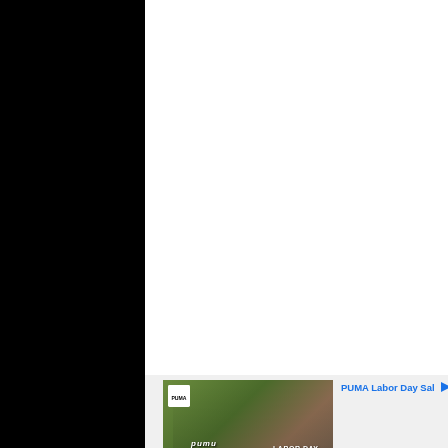[Figure (photo): Advertisement banner for PUMA Labor Day Weekend Sale showing two people outdoors with text 'LABOR DAY WEEKEND SALE 30% OFF PUMA']
PUMA Labor Day Sal
Ad